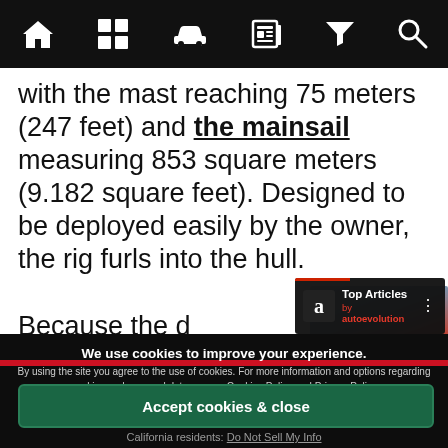[Figure (screenshot): Top navigation bar with icons: home, grid, car, newspaper, filter/funnel, search]
with the mast reaching 75 meters (247 feet) and the mainsail measuring 853 square meters (9.182 square feet). Designed to be deployed easily by the owner, the rig furls into the hull.
Because the d... firm steering
[Figure (screenshot): Top Articles by autoevolution overlay widget with car image]
We use cookies to improve your experience. By using the site you agree to the use of cookies. For more information and options regarding cookies and personal data see our Cookies Policy and Privacy Policy
Accept cookies & close
California residents: Do Not Sell My Info